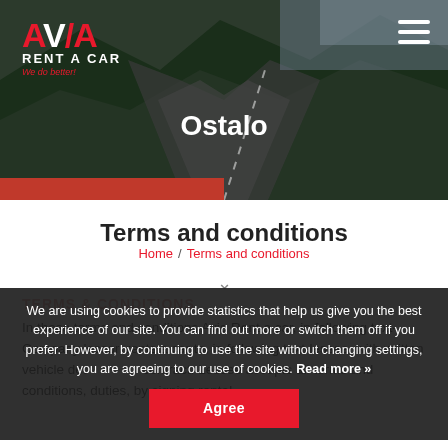[Figure (photo): Hero image: mountain road with dark green hills and winding road viewed from above, with red bar at bottom left and Avia Rent a Car logo top left, hamburger menu top right]
Ostalo
Terms and conditions
Home / Terms and conditions
TERMS & CONDITIONS
We are using cookies to provide statistics that help us give you the best experience of our site. You can find out more or switch them off if you prefer. However, by continuing to use the site without changing settings, you are agreeing to our use of cookies. Read more »
Agree
In these terms and conditions Avia Rent a car, in following text- Company lessor, rents a car to, in following text-lessee, with written vehicle details in separate contract. Lessee accepts all terms and conditions, duties, by signing rental